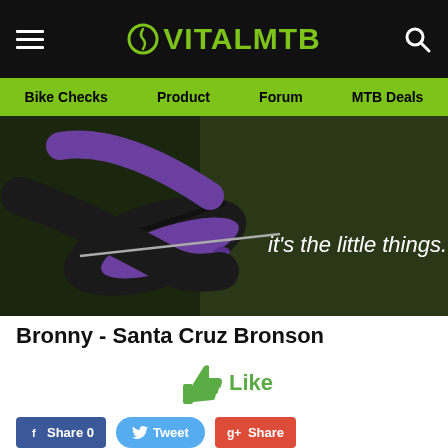VITALMTB — Bike Checks | Product | Forum | MTB Deals
[Figure (photo): Advertisement banner showing a close-up of a purple mountain bike component (clamp/cable mechanism) on a dark green background with text 'it's the little things.' and 'ONE' logo]
Bronny - Santa Cruz Bronson
[Figure (other): Green thumbs-up Like button with label 'Like']
[Figure (other): Social share buttons: Facebook Share 0, Twitter Tweet, Google+ Share]
[Figure (photo): Bottom partial photo showing wooden surface, likely a deck or boardwalk]